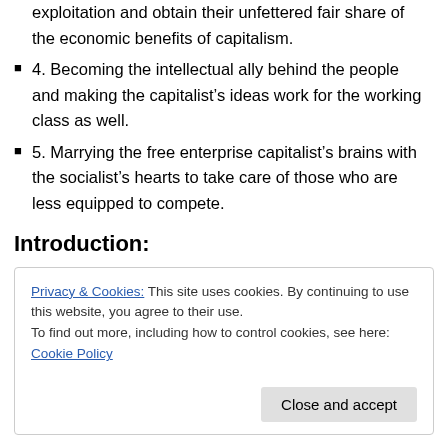exploitation and obtain their unfettered fair share of the economic benefits of capitalism.
4. Becoming the intellectual ally behind the people and making the capitalist's ideas work for the working class as well.
5. Marrying the free enterprise capitalist's brains with the socialist's hearts to take care of those who are less equipped to compete.
Introduction:
Privacy & Cookies: This site uses cookies. By continuing to use this website, you agree to their use.
To find out more, including how to control cookies, see here: Cookie Policy
country to enhance long term home ownership stability